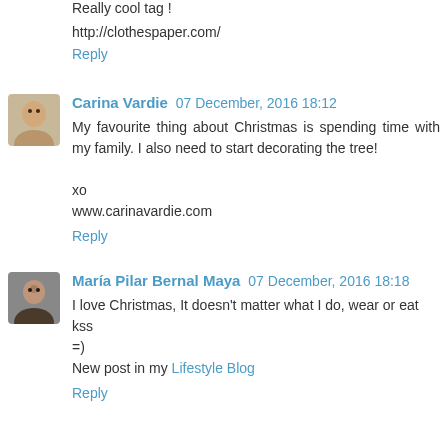Really cool tag !
http://clothespaper.com/
Reply
Carina Vardie  07 December, 2016 18:12
My favourite thing about Christmas is spending time with my family. I also need to start decorating the tree!

xo
www.carinavardie.com
Reply
María Pilar Bernal Maya  07 December, 2016 18:18
I love Christmas, It doesn't matter what I do, wear or eat
kss
=)
New post in my Lifestyle Blog
Reply